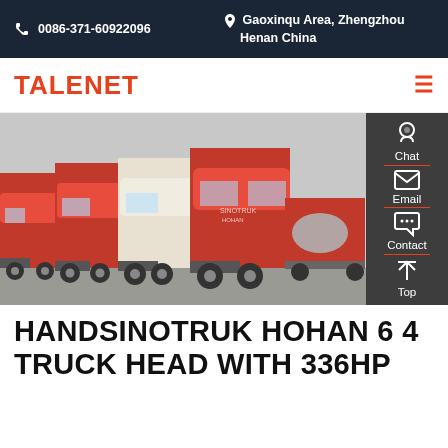0086-371-60922096  |  Gaoxinqu Area, Zhengzhou Henan China
TALENET
[Figure (photo): A row of red and white Sinotruk Hohan heavy-duty truck cabs parked in a lot, with a tanker truck visible in the background. Right sidebar shows Chat, Email, Contact, and Top buttons.]
HANDSINOTRUK HOHAN 6 4 TRUCK HEAD WITH 336HP